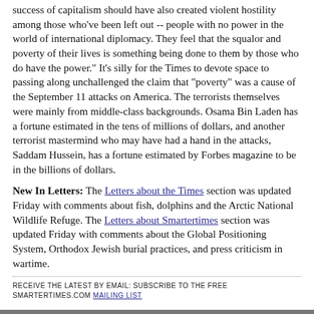success of capitalism should have also created violent hostility among those who've been left out -- people with no power in the world of international diplomacy. They feel that the squalor and poverty of their lives is something being done to them by those who do have the power." It's silly for the Times to devote space to passing along unchallenged the claim that "poverty" was a cause of the September 11 attacks on America. The terrorists themselves were mainly from middle-class backgrounds. Osama Bin Laden has a fortune estimated in the tens of millions of dollars, and another terrorist mastermind who may have had a hand in the attacks, Saddam Hussein, has a fortune estimated by Forbes magazine to be in the billions of dollars.
New In Letters: The Letters about the Times section was updated Friday with comments about fish, dolphins and the Arctic National Wildlife Refuge. The Letters about Smartertimes section was updated Friday with comments about the Global Positioning System, Orthodox Jewish burial practices, and press criticism in wartime.
RECEIVE THE LATEST BY EMAIL: SUBSCRIBE TO THE FREE SMARTERTIMES.COM MAILING LIST
BACK TO TOP OF PAGE